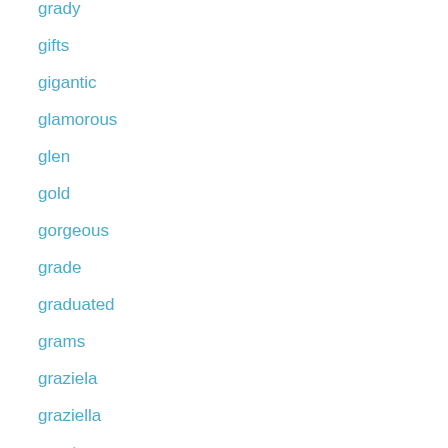grady
gifts
gigantic
glamorous
glen
gold
gorgeous
grade
graduated
grams
graziela
graziella
great
gurhan
hakaret
half
half-hoop
halo
hand
handcrafted